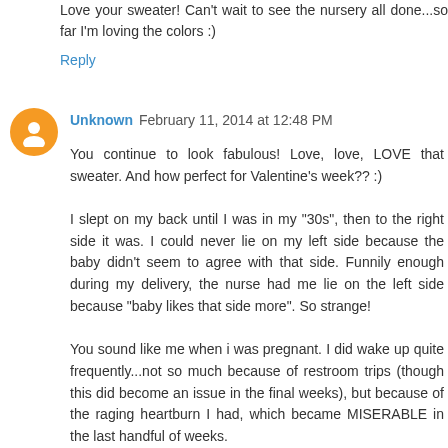Love your sweater! Can't wait to see the nursery all done...so far I'm loving the colors :)
Reply
Unknown February 11, 2014 at 12:48 PM
You continue to look fabulous! Love, love, LOVE that sweater. And how perfect for Valentine's week?? :)

I slept on my back until I was in my "30s", then to the right side it was. I could never lie on my left side because the baby didn't seem to agree with that side. Funnily enough during my delivery, the nurse had me lie on the left side because "baby likes that side more". So strange!

You sound like me when i was pregnant. I did wake up quite frequently...not so much because of restroom trips (though this did become an issue in the final weeks), but because of the raging heartburn I had, which became MISERABLE in the last handful of weeks.

I am sending non-sugary thoughts your way for round two